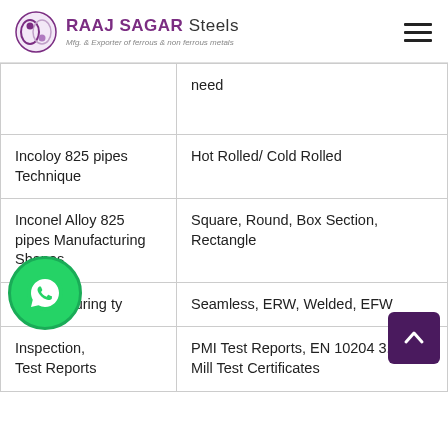RAAJ SAGAR Steels — Mfg. & Exporter of ferrous & non ferrous metals
| Property | Value |
| --- | --- |
|  | need |
| Incoloy 825 pipes Technique | Hot Rolled/ Cold Rolled |
| Inconel Alloy 825 pipes Manufacturing Shapes | Square, Round, Box Section, Rectangle |
| Manufacturing ty... | Seamless, ERW, Welded, EFW |
| Inspection, Test Reports | PMI Test Reports, EN 10204 3.1, Mill Test Certificates |